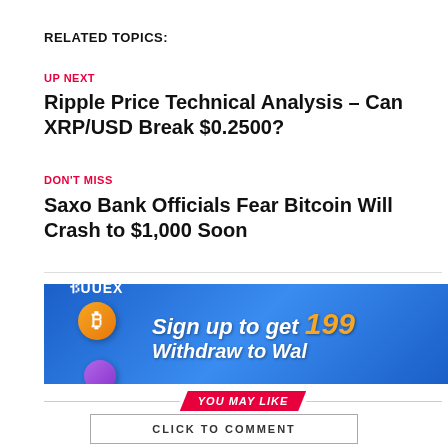RELATED TOPICS:
UP NEXT
Ripple Price Technical Analysis – Can XRP/USD Break $0.2500?
DON'T MISS
Saxo Bank Officials Fear Bitcoin Will Crash to $1,000 Soon
[Figure (illustration): UUEX exchange advertisement banner with blue gradient background, logo, coin graphics, and text: Sign up to get 199 / Withdraw to Wal]
YOU MAY LIKE
CLICK TO COMMENT